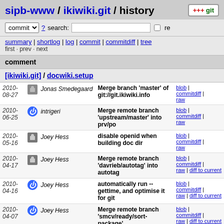sipb-www / ikiwiki.git / history
commit ? search: re
summary | shortlog | log | commit | commitdiff | tree
first · prev · next
comment
[ikiwiki.git] / docwiki.setup
| date | author | message | links |
| --- | --- | --- | --- |
| 2010-08-27 | Jonas Smedegaard | Merge branch 'master' of git://git.ikiwiki.info | blob | commitdiff | raw |
| 2010-06-25 | intrigeri | Merge remote branch 'upstream/master' into prv/po | blob | commitdiff | raw |
| 2010-05-16 | Joey Hess | disable openid when building doc dir | blob | commitdiff | raw |
| 2010-04-17 | Joey Hess | Merge remote branch 'davrieb/autotag' into autotag | blob | commitdiff | raw | diff to current |
| 2010-04-16 | Joey Hess | automatically run --gettime, and optimise it for git | blob | commitdiff | raw | diff to current |
| 2010-04-07 | Joey Hess | Merge remote branch 'smcv/ready/sort-package' | blob | commitdiff | raw | diff to current |
| 2010-03-29 | Joey Hess | add a table summarizing state of each rcs plugin | blob | commitdiff | raw | diff to current |